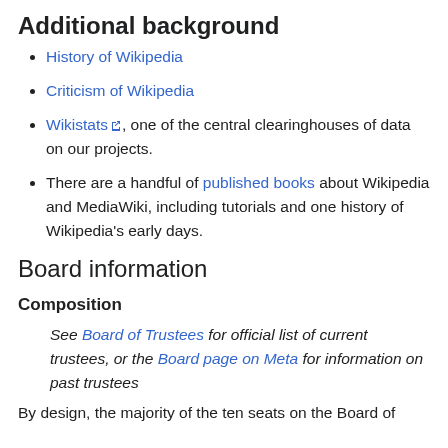Additional background
History of Wikipedia
Criticism of Wikipedia
Wikistats, one of the central clearinghouses of data on our projects.
There are a handful of published books about Wikipedia and MediaWiki, including tutorials and one history of Wikipedia's early days.
Board information
Composition
See Board of Trustees for official list of current trustees, or the Board page on Meta for information on past trustees
By design, the majority of the ten seats on the Board of